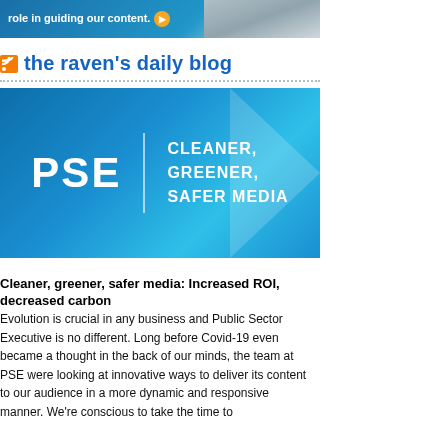[Figure (screenshot): Banner advertisement with text 'role in guiding our content.' and an orange arrow button, with an image of office chairs on the right, on a blue background]
the raven's daily blog
[Figure (logo): PSE logo on a blue gradient background with tagline CLEANER, GREENER, SAFER MEDIA and a vertical white divider line and a light arrow shape]
Cleaner, greener, safer media: Increased ROI, decreased carbon
Evolution is crucial in any business and Public Sector Executive is no different. Long before Covid-19 even became a thought in the back of our minds, the team at PSE were looking at innovative ways to deliver its content to our audience in a more dynamic and responsive manner. We're conscious to take the time to